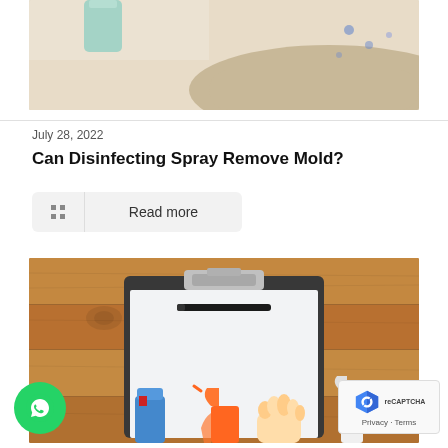[Figure (photo): Top portion of a photo showing cleaning/health related items on a beige surface with a teal object visible at top]
July 28, 2022
Can Disinfecting Spray Remove Mold?
Read more
[Figure (photo): Overhead view of a clipboard with a black pen on a wooden table surface, with an orange spray bottle, pink rubber glove, blue bottle, and white spray bottle visible at the bottom of the image]